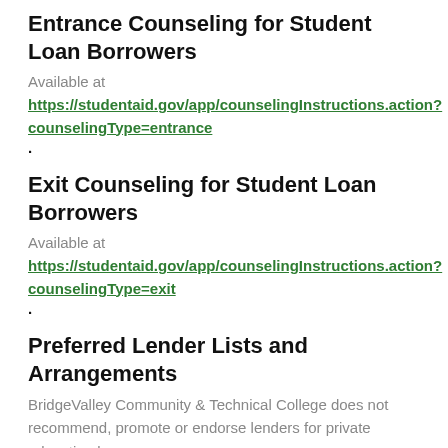Entrance Counseling for Student Loan Borrowers
Available at
https://studentaid.gov/app/counselingInstructions.action?counselingType=entrance.
Exit Counseling for Student Loan Borrowers
Available at
https://studentaid.gov/app/counselingInstructions.action?counselingType=exit.
Preferred Lender Lists and Arrangements
BridgeValley Community & Technical College does not recommend, promote or endorse lenders for private education loans.
Financial Aid Verification